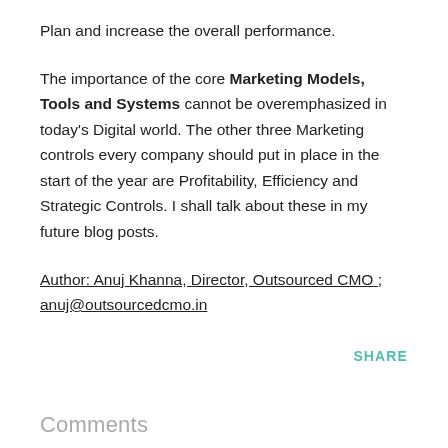Plan and increase the overall performance.
The importance of the core Marketing Models, Tools and Systems cannot be overemphasized in today’s Digital world. The other three Marketing controls every company should put in place in the start of the year are Profitability, Efficiency and Strategic Controls. I shall talk about these in my future blog posts.
Author: Anuj Khanna, Director, Outsourced CMO ; anuj@outsourcedcmo.in
SHARE
Comments